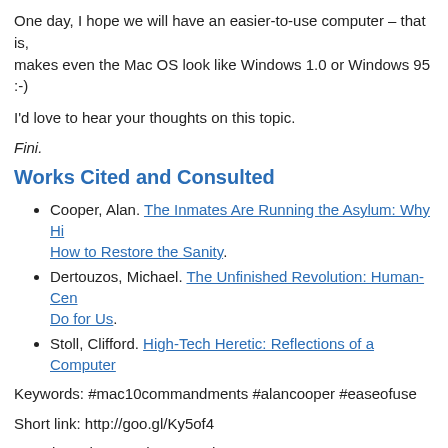One day, I hope we will have an easier-to-use computer – that is, makes even the Mac OS look like Windows 1.0 or Windows 95 :-)
I'd love to hear your thoughts on this topic.
Fini.
Works Cited and Consulted
Cooper, Alan. The Inmates Are Running the Asylum: Why Hi... How to Restore the Sanity.
Dertouzos, Michael. The Unfinished Revolution: Human-Cen... Do for Us.
Stoll, Clifford. High-Tech Heretic: Reflections of a Computer...
Keywords: #mac10commandments #alancooper #easeofuse
Short link: http://goo.gl/Ky5of4
searchword: secondcommandment